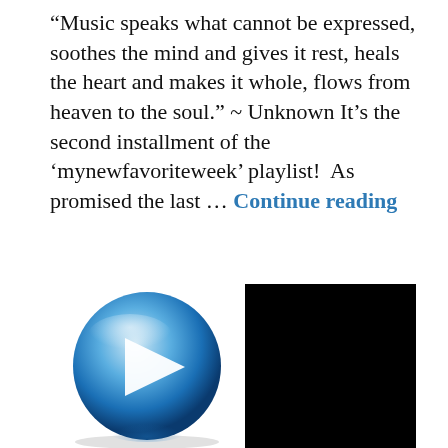“Music speaks what cannot be expressed, soothes the mind and gives it rest, heals the heart and makes it whole, flows from heaven to the soul.” ~ Unknown It’s the second installment of the ‘mynewfavoriteweek’ playlist!  As promised the last … Continue reading
CHILDREN, FAMILY, HOME, INSPIRATION, LIFE, LOVE, MUSIC, PARENTING, QUOTES, UNCATEGORIZED
2 COMMENTS
[Figure (illustration): A blue glossy play button (circular, with a white triangle arrow pointing right) on the left, and a solid black rectangle on the right, representing a media player interface.]